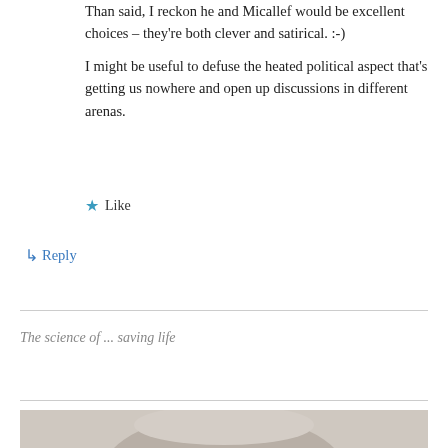Than said, I reckon he and Micallef would be excellent choices – they're both clever and satirical. :-)
I might be useful to defuse the heated political aspect that's getting us nowhere and open up discussions in different arenas.
★ Like
↳ Reply
The science of ... saving life
[Figure (photo): Partial photo of a person wearing a light-colored hood or hat, visible from the top of the image.]